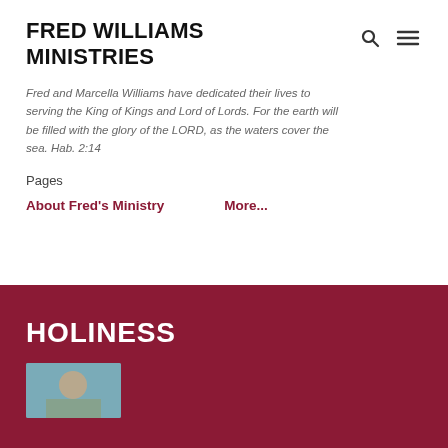FRED WILLIAMS MINISTRIES
Fred and Marcella Williams have dedicated their lives to serving the King of Kings and Lord of Lords. For the earth will be filled with the glory of the LORD, as the waters cover the sea. Hab. 2:14
Pages
About Fred's Ministry    More...
HOLINESS